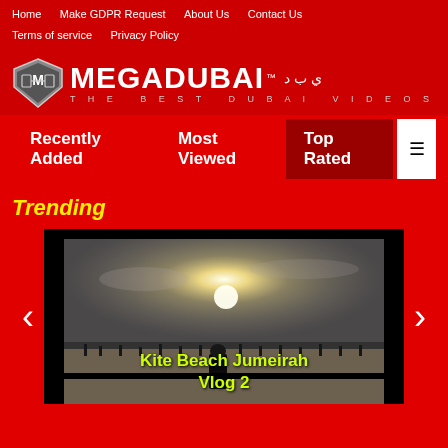Home | Make GDPR Request | About Us | Contact Us | Terms of service | Privacy Policy
[Figure (logo): MegaDubai logo - shield icon with text MEGADUBAI TM - THE BEST DUBAI VIDEOS, with Arabic text]
Recently Added | Most Viewed | Top Rated | hamburger menu
Trending
[Figure (screenshot): Video thumbnail of Kite Beach Jumeirah showing beach scene with sun in sky, people on beach, with navigation arrows on either side]
Kite Beach Jumeirah Vlog 2